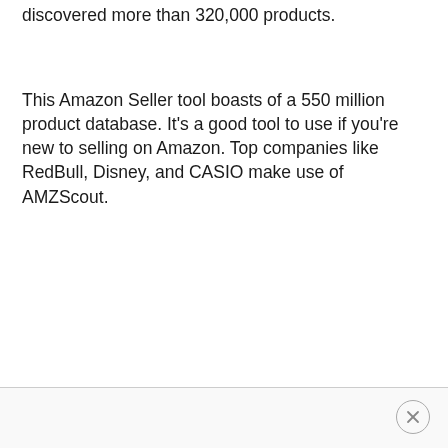discovered more than 320,000 products.
This Amazon Seller tool boasts of a 550 million product database. It's a good tool to use if you're new to selling on Amazon. Top companies like RedBull, Disney, and CASIO make use of AMZScout.